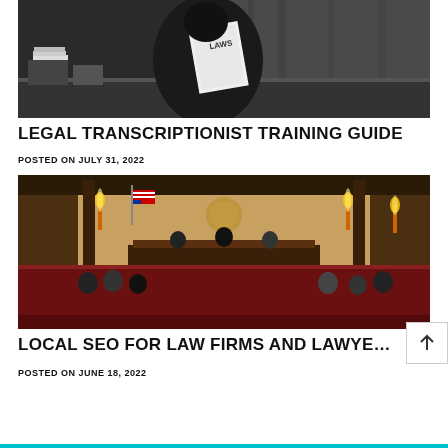[Figure (photo): Person in dark clothing holding white papers labeled LAWS, sitting at a desk with papers and equipment]
LEGAL TRANSCRIPTIONIST TRAINING GUIDE
POSTED ON JULY 31, 2022
[Figure (photo): Interior of a formal courtroom with dark wood paneling, red carpet, candle-style lights, American flag, and people seated at desks]
LOCAL SEO FOR LAW FIRMS AND LAWYERS
POSTED ON JUNE 18, 2022